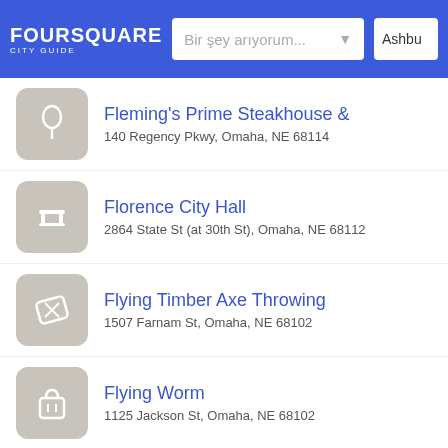FOURSQUARE CITY GUIDE — Bir şey arıyorum... — Ashbu
Fleming's Prime Steakhouse &
140 Regency Pkwy, Omaha, NE 68114
Florence City Hall
2864 State St (at 30th St), Omaha, NE 68112
Flying Timber Axe Throwing
1507 Farnam St, Omaha, NE 68102
Flying Worm
1125 Jackson St, Omaha, NE 68102
Fontenelle Park
4410 Fontenelle Blvd., Omaha, NE 68104
Food Court
IN S 67th St (at UNO), Omaha, NE 68182